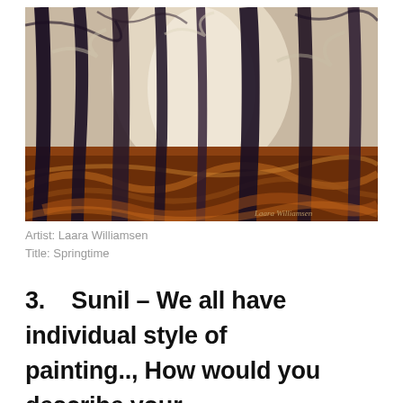[Figure (illustration): An impressionist oil painting of a forest scene in autumn/spring. Tall dark tree trunks rise against a pale glowing light in the background. The ground is covered in warm russet and golden fallen leaves rendered with energetic brushstrokes. The artist's signature 'Laara Williamsen' appears in the lower right corner of the painting.]
Artist: Laara Williamsen
Title: Springtime
3.    Sunil – We all have individual style of painting.., How would you describe your